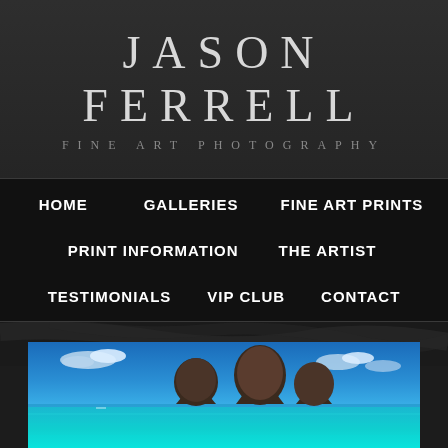JASON FERRELL
FINE ART PHOTOGRAPHY
HOME
GALLERIES
FINE ART PRINTS
PRINT INFORMATION
THE ARTIST
TESTIMONIALS
VIP CLUB
CONTACT
[Figure (photo): Panoramic ocean photo featuring two small dark rocky islands rising from turquoise-blue tropical water under a blue sky with white clouds]